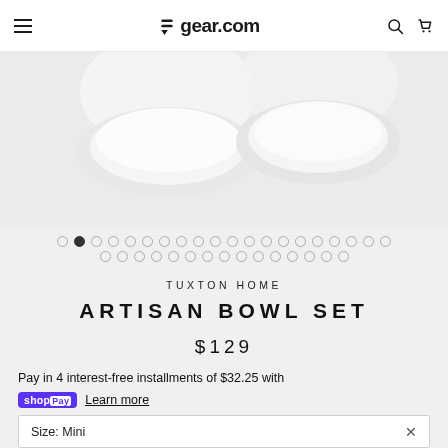gear.com
[Figure (photo): Two white ceramic bowls photographed from above on a light gray background, partially cropped at the top of the image.]
TUXTON HOME
ARTISAN BOWL SET
$129
Pay in 4 interest-free installments of $32.25 with
shopPay Learn more
Size: Mini